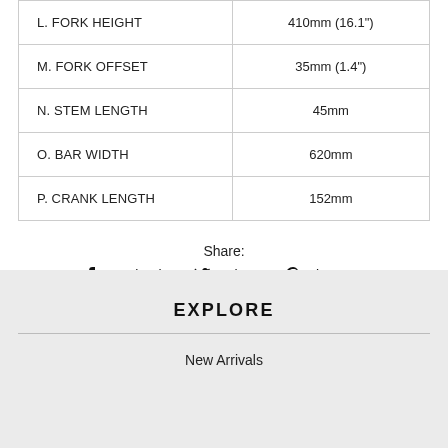| Specification | Value |
| --- | --- |
| L. FORK HEIGHT | 410mm (16.1") |
| M. FORK OFFSET | 35mm (1.4") |
| N. STEM LENGTH | 45mm |
| O. BAR WIDTH | 620mm |
| P. CRANK LENGTH | 152mm |
Share:
Facebook  Twitter  Pinterest
EXPLORE
New Arrivals